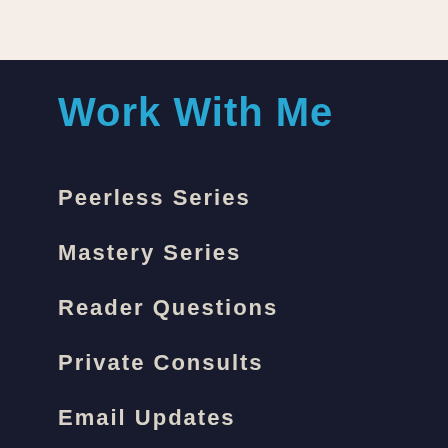Work With Me
Peerless Series
Mastery Series
Reader Questions
Private Consults
Email Updates